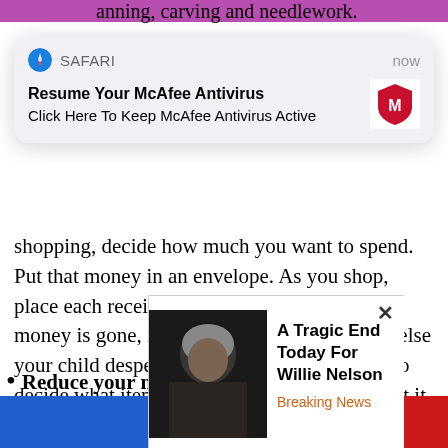anning, carving and needlework.
[Figure (screenshot): Safari browser notification popup: 'Resume Your McAfee Antivirus / Click Here To Keep McAfee Antivirus Active' with McAfee logo]
shopping, decide how much you want to spend. Put that money in an envelope. As you shop, place each receipt in the envelope. When the money is gone, it’s gone. If there’s something else your child desperately wants, then they need to decide what item they’d like to take back to get it. Be firm and stick to your guns. This has the added benefit of teaching your children to budget.
Reduce your monthly payments by cutting things like cable, cell phones, home phones, and/or gym memberships. If you’re still paying full price and slash...
[Figure (screenshot): Bottom ad popup with photo of Willie Nelson and text 'A Tragic End Today For Willie Nelson / Breaking News']